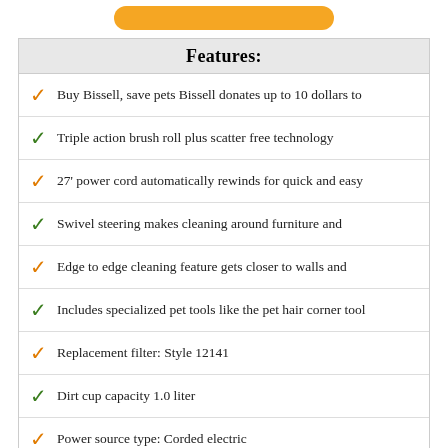[Figure (other): Orange rounded button at the top of the page]
| Features: |
| --- |
| ✓ | Buy Bissell, save pets Bissell donates up to 10 dollars to |
| ✓ | Triple action brush roll plus scatter free technology |
| ✓ | 27' power cord automatically rewinds for quick and easy |
| ✓ | Swivel steering makes cleaning around furniture and |
| ✓ | Edge to edge cleaning feature gets closer to walls and |
| ✓ | Includes specialized pet tools like the pet hair corner tool |
| ✓ | Replacement filter: Style 12141 |
| ✓ | Dirt cup capacity 1.0 liter |
| ✓ | Power source type: Corded electric |
3. DIRT DEVIL ENDURA REACH BAGLESS UPRIGHT VACUUM CLEANER
[Figure (illustration): Partial image of a vacuum cleaner (top portion visible) and a scroll-to-top button in the bottom right]